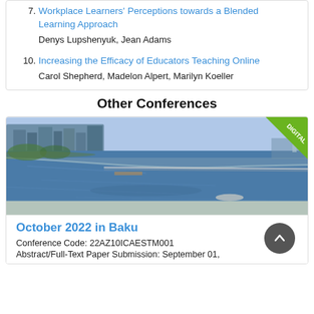7. Workplace Learners' Perceptions towards a Blended Learning Approach
Denys Lupshenyuk, Jean Adams
10. Increasing the Efficacy of Educators Teaching Online
Carol Shepherd, Madelon Alpert, Marilyn Koeller
Other Conferences
[Figure (photo): Aerial view of a coastal city with a bay and bridge, with a green 'DIGITAL' ribbon badge in the top-right corner]
October 2022 in Baku
Conference Code: 22AZ10ICAESTM001
Abstract/Full-Text Paper Submission: September 01,